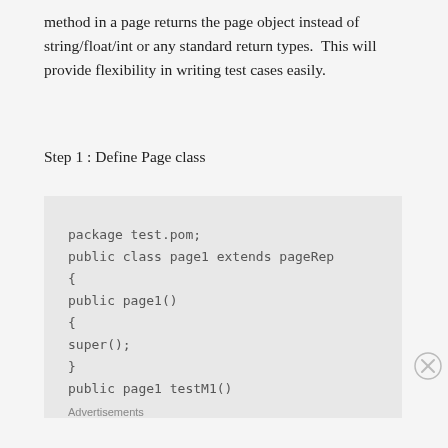method in a page returns the page object instead of string/float/int or any standard return types.  This will provide flexibility in writing test cases easily.
Step 1 : Define Page class
package test.pom;
public class page1 extends pageRep
{
public page1()
{
super();
}
public page1 testM1()
Advertisements